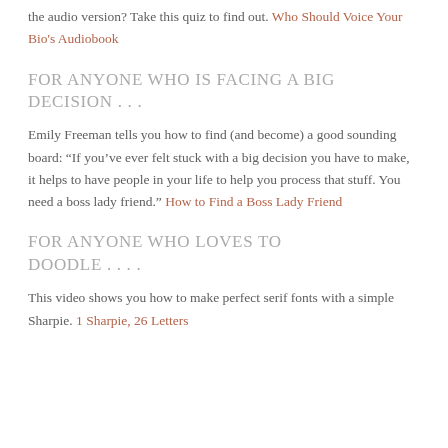the audio version? Take this quiz to find out. Who Should Voice Your Bio's Audiobook
FOR ANYONE WHO IS FACING A BIG DECISION . . .
Emily Freeman tells you how to find (and become) a good sounding board: “If you’ve ever felt stuck with a big decision you have to make, it helps to have people in your life to help you process that stuff. You need a boss lady friend.” How to Find a Boss Lady Friend
FOR ANYONE WHO LOVES TO DOODLE . . . .
This video shows you how to make perfect serif fonts with a simple Sharpie. 1 Sharpie, 26 Letters